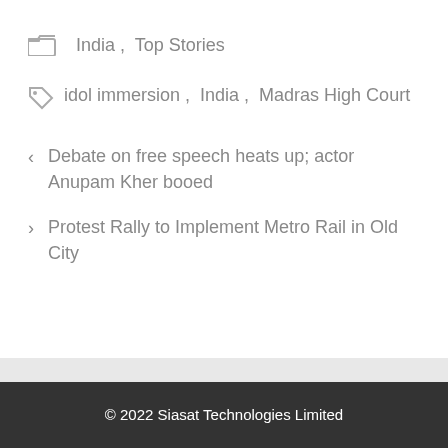India , Top Stories
idol immersion , India , Madras High Court
Debate on free speech heats up; actor Anupam Kher booed
Protest Rally to Implement Metro Rail in Old City
© 2022 Siasat Technologies Limited